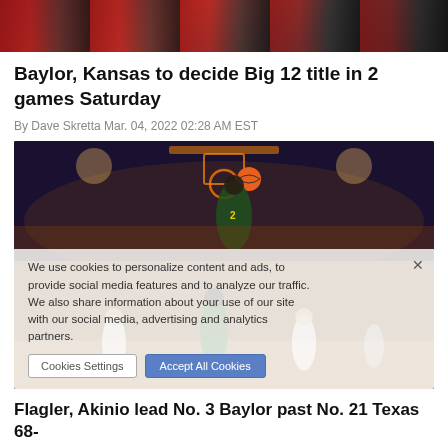[Figure (photo): Top portion of a sports/basketball photo, showing red and dark arena background]
Baylor, Kansas to decide Big 12 title in 2 games Saturday
By Dave Skretta Mar. 04, 2022 02:28 AM EST
[Figure (photo): Two basketball action photos combined: top shows a Baylor player (#2) going up for a shot near the basket in a packed arena; bottom shows multiple players on court during a game, with a cookie consent overlay visible in the lower portion of the image]
Flagler, Akinio lead No. 3 Baylor past No. 21 Texas 68-